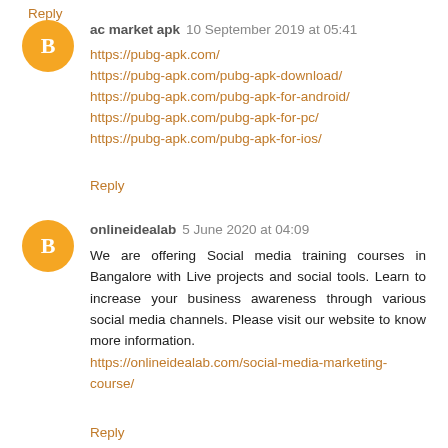Reply
ac market apk  10 September 2019 at 05:41
https://pubg-apk.com/
https://pubg-apk.com/pubg-apk-download/
https://pubg-apk.com/pubg-apk-for-android/
https://pubg-apk.com/pubg-apk-for-pc/
https://pubg-apk.com/pubg-apk-for-ios/
Reply
onlineidealab  5 June 2020 at 04:09
We are offering Social media training courses in Bangalore with Live projects and social tools. Learn to increase your business awareness through various social media channels. Please visit our website to know more information.
https://onlineidealab.com/social-media-marketing-course/
Reply